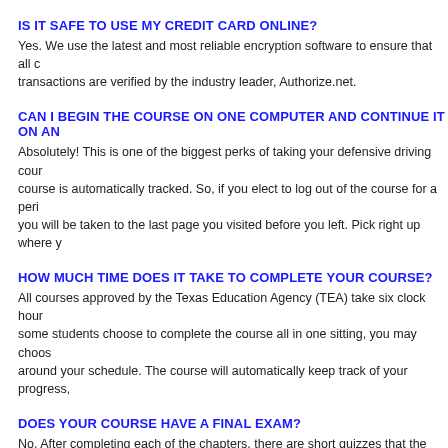IS IT SAFE TO USE MY CREDIT CARD ONLINE?
Yes. We use the latest and most reliable encryption software to ensure that all c… transactions are verified by the industry leader, Authorize.net.
CAN I BEGIN THE COURSE ON ONE COMPUTER AND CONTINUE IT ON AN…
Absolutely! This is one of the biggest perks of taking your defensive driving cour… course is automatically tracked. So, if you elect to log out of the course for a peri… you will be taken to the last page you visited before you left. Pick right up where y…
HOW MUCH TIME DOES IT TAKE TO COMPLETE YOUR COURSE?
All courses approved by the Texas Education Agency (TEA) take six clock hour… some students choose to complete the course all in one sitting, you may choos… around your schedule. The course will automatically keep track of your progress,…
DOES YOUR COURSE HAVE A FINAL EXAM?
No. After completing each of the chapters, there are short quizzes that the TEA … will be required to test again over another set of four chapter questions. If you f… third and final set of four questions. If you fail testing over the third set of questio… complete course again without any additional payment.
WILL MY COURSE EXPIRE?
Yes. From the time you register, you will have 90 days to complete your course. A…
WHAT IS THE CANCELLATION / REFUND POLICY?